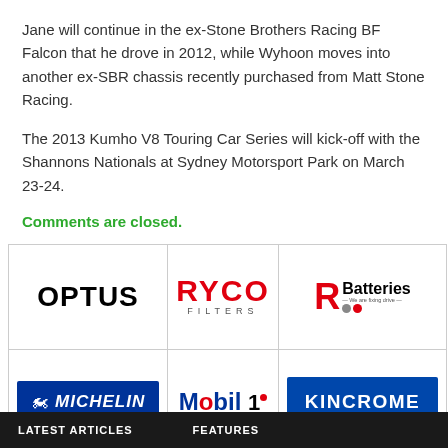Jane will continue in the ex-Stone Brothers Racing BF Falcon that he drove in 2012, while Wyhoon moves into another ex-SBR chassis recently purchased from Matt Stone Racing.
The 2013 Kumho V8 Touring Car Series will kick-off with the Shannons Nationals at Sydney Motorsport Park on March 23-24.
Comments are closed.
[Figure (logo): Optus logo - black bold text]
[Figure (logo): Ryco Filters logo - red bold RYCO text with FILTERS below]
[Figure (logo): R&J Batteries logo - red R, black Batteries text]
[Figure (logo): Michelin logo - blue box with white Michelin man and text]
[Figure (logo): Mobil 1 logo - blue Mobil red o, black 1]
[Figure (logo): Kincrome logo - blue box with white KINCROME text]
LATEST ARTICLES   FEATURES